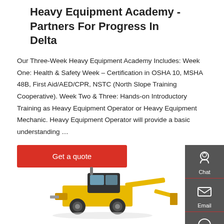Heavy Equipment Academy - Partners For Progress In Delta
Our Three-Week Heavy Equipment Academy Includes: Week One: Health & Safety Week – Certification in OSHA 10, MSHA 48B, First Aid/AED/CPR, NSTC (North Slope Training Cooperative). Week Two & Three: Hands-on Introductory Training as Heavy Equipment Operator or Heavy Equipment Mechanic. Heavy Equipment Operator will provide a basic understanding …
Get a quote
[Figure (screenshot): Sidebar with Chat, Email, and Contact icons on dark grey background]
[Figure (photo): Yellow heavy equipment machine (motor grader or backhoe) on white background]